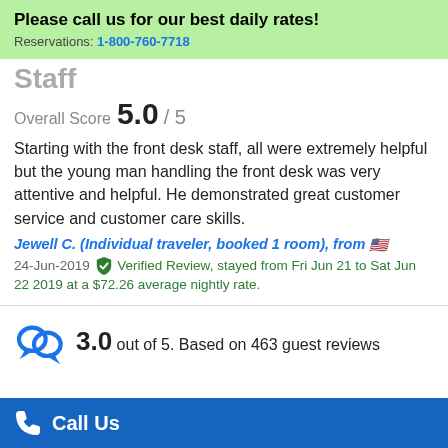Please call us for our best daily rates! Reservations: 1-800-760-7718
Staff
Overall Score 5.0 / 5
Starting with the front desk staff, all were extremely helpful but the young man handling the front desk was very attentive and helpful. He demonstrated great customer service and customer care skills.
Jewell C. (Individual traveler, booked 1 room), from 🇺🇸
24-Jun-2019 Verified Review, stayed from Fri Jun 21 to Sat Jun 22 2019 at a $72.26 average nightly rate.
3.0 out of 5. Based on 463 guest reviews
Call Us